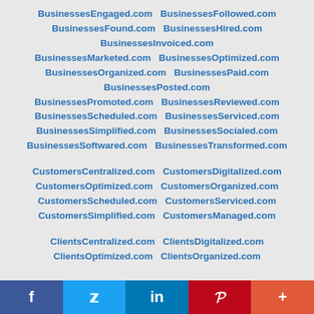BusinessesEngaged.com  BusinessesFollowed.com
BusinessesFound.com  BusinessesHired.com
BusinessesInvoiced.com
BusinessesMarketed.com  BusinessesOptimized.com
BusinessesOrganized.com  BusinessesPaid.com
BusinessesPosted.com
BusinessesPromoted.com  BusinessesReviewed.com
BusinessesScheduled.com  BusinessesServiced.com
BusinessesSimplified.com  BusinessesSocialed.com
BusinessesSoftwared.com  BusinessesTransformed.com
CustomersCentralized.com  CustomersDigitalized.com
CustomersOptimized.com  CustomersOrganized.com
CustomersScheduled.com  CustomersServiced.com
CustomersSimplified.com  CustomersManaged.com
ClientsCentralized.com  ClientsDigitalized.com
ClientsOptimized.com  ClientsOrganized.com
f  y  in  P  +